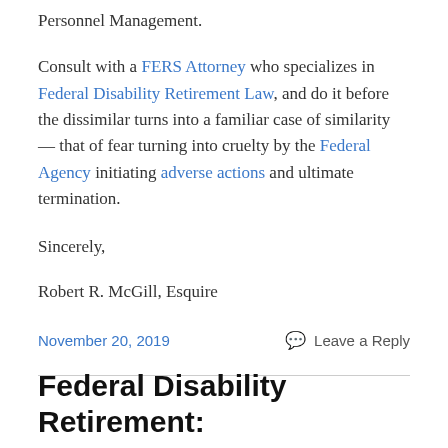Personnel Management.
Consult with a FERS Attorney who specializes in Federal Disability Retirement Law, and do it before the dissimilar turns into a familiar case of similarity — that of fear turning into cruelty by the Federal Agency initiating adverse actions and ultimate termination.
Sincerely,
Robert R. McGill, Esquire
November 20, 2019
Leave a Reply
Federal Disability Retirement: